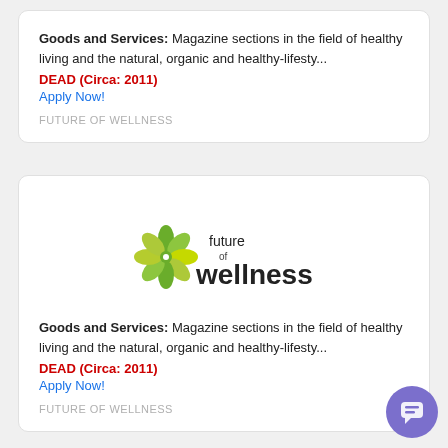Goods and Services: Magazine sections in the field of healthy living and the natural, organic and healthy-lifesty...
DEAD (Circa: 2011)
Apply Now!
FUTURE OF WELLNESS
[Figure (logo): Future of Wellness logo — green flower/leaf graphic with text 'future of wellness']
Goods and Services: Magazine sections in the field of healthy living and the natural, organic and healthy-lifesty...
DEAD (Circa: 2011)
Apply Now!
FUTURE OF WELLNESS